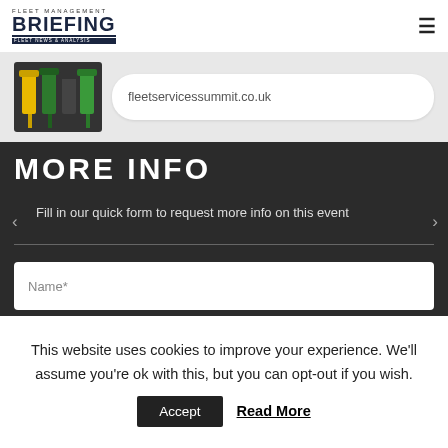Fleet Management Briefing
[Figure (screenshot): Banner ad showing fuel pump nozzles image next to the text fleetservicessummit.co.uk in a rounded white box]
MORE INFO
Fill in our quick form to request more info on this event
Name*
This website uses cookies to improve your experience. We'll assume you're ok with this, but you can opt-out if you wish.
Accept
Read More